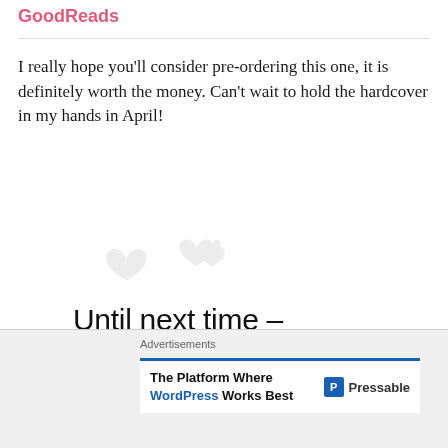GoodReads
I really hope you'll consider pre-ordering this one, it is definitely worth the money. Can't wait to hold the hardcover in my hands in April!
[Figure (illustration): Decorative sign-off image with hearts in the background. Text reads 'Until next time - Jessica' in stylized typography.]
|Twitter|Instagram|Facebook|
Advertisements
The Platform Where WordPress Works Best   Pressable